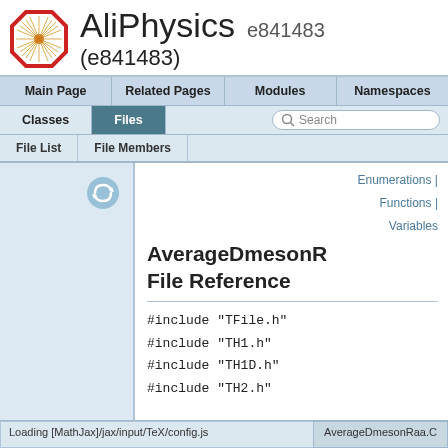AliPhysics e841483 (e841483)
Main Page | Related Pages | Modules | Namespaces | Classes | Files | Search
File List | File Members
Enumerations | Functions | Variables
AverageDmesonR File Reference
#include "TFile.h"
#include "TH1.h"
#include "TH1D.h"
#include "TH2.h"
Loading [MathJax]/jax/input/TeX/config.js    AverageDmesonRaa.C